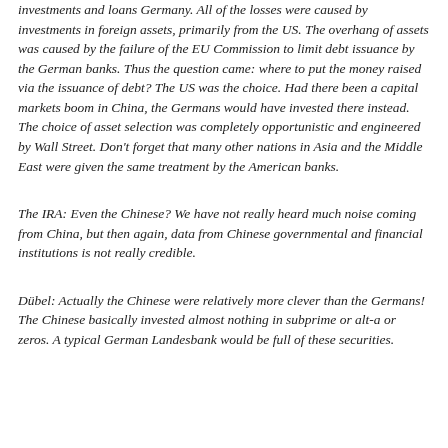investments and loans Germany. All of the losses were caused by investments in foreign assets, primarily from the US. The overhang of assets was caused by the failure of the EU Commission to limit debt issuance by the German banks. Thus the question came: where to put the money raised via the issuance of debt? The US was the choice. Had there been a capital markets boom in China, the Germans would have invested there instead. The choice of asset selection was completely opportunistic and engineered by Wall Street. Don't forget that many other nations in Asia and the Middle East were given the same treatment by the American banks.
The IRA: Even the Chinese? We have not really heard much noise coming from China, but then again, data from Chinese governmental and financial institutions is not really credible.
Dübel: Actually the Chinese were relatively more clever than the Germans! The Chinese basically invested almost nothing in subprime or alt-a or zeros. A typical German Landesbank would be full of these securities.